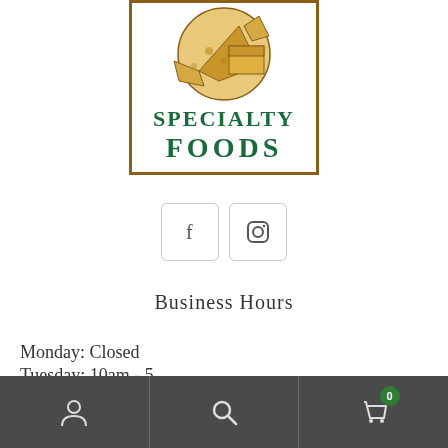[Figure (logo): Specialty Foods logo with cheese illustration in a brown bordered box, green text reading SPECIALTY FOODS]
[Figure (infographic): Social media icon buttons: Facebook (f) and Instagram camera icon, rounded square borders]
Business Hours
Monday: Closed
Tuesday: 10am - 5...
[Figure (infographic): Bottom navigation bar with three icons: person/account, search magnifying glass, shopping bag with badge showing 0]